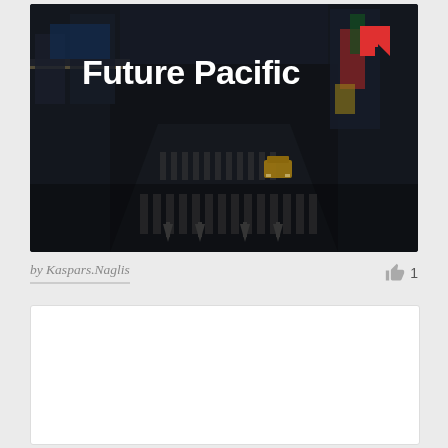[Figure (photo): Dark aerial photo of a city street intersection in Asia (likely Tokyo) with buildings on both sides, crosswalks with white arrows painted on the road, a yellow vehicle in the middle, and a large bold white text 'Future Pacific' with a red geometric logo (stylized F) in the upper right.]
by Kaspars.Naglis
[Figure (photo): A second card/image placeholder below — white rectangle with light gray border, content not visible.]